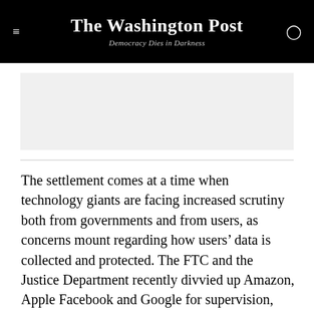The Washington Post
Democracy Dies in Darkness
[Figure (other): Advertisement placeholder banner]
The settlement comes at a time when technology giants are facing increased scrutiny both from governments and from users, as concerns mount regarding how users’ data is collected and protected. The FTC and the Justice Department recently divvied up Amazon, Apple Facebook and Google for supervision, something that could result in closer scrutiny of the companies’ power. And this week, lawmakers grilled executives from those companies at a hearing as part of a sprawling House investigation into alleged anti-competitive